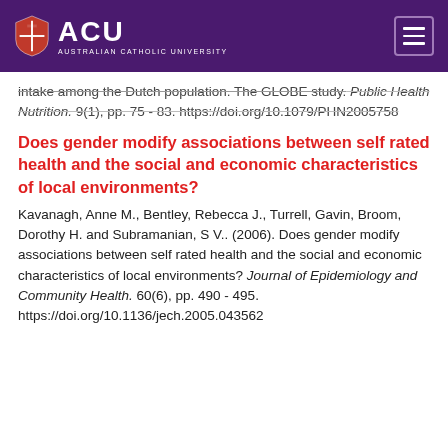[Figure (logo): ACU (Australian Catholic University) logo and navigation header with purple background]
intake among the Dutch population. The GLOBE study. Public Health Nutrition. 9(1), pp. 75 - 83. https://doi.org/10.1079/PHN2005758
Does gender modify associations between self rated health and the social and economic characteristics of local environments?
Kavanagh, Anne M., Bentley, Rebecca J., Turrell, Gavin, Broom, Dorothy H. and Subramanian, S V.. (2006). Does gender modify associations between self rated health and the social and economic characteristics of local environments? Journal of Epidemiology and Community Health. 60(6), pp. 490 - 495. https://doi.org/10.1136/jech.2005.043562